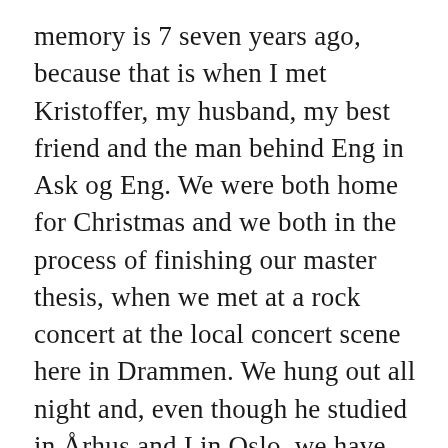memory is 7 seven years ago, because that is when I met Kristoffer, my husband, my best friend and the man behind Eng in Ask og Eng. We were both home for Christmas and we both in the process of finishing our master thesis, when we met at a rock concert at the local concert scene here in Drammen. We hung out all night and, even though he studied in Århus and I in Oslo, we have spent most of all our time together ever since that night.